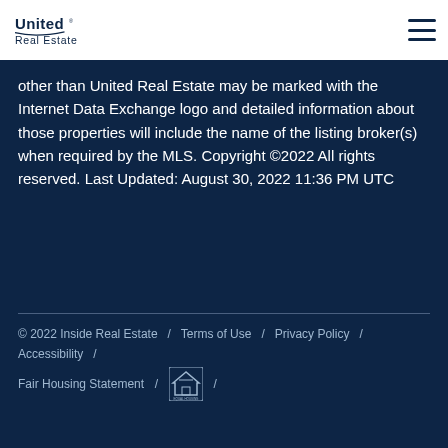United Real Estate [logo] [hamburger menu]
other than United Real Estate may be marked with the Internet Data Exchange logo and detailed information about those properties will include the name of the listing broker(s) when required by the MLS. Copyright ©2022 All rights reserved. Last Updated: August 30, 2022 11:36 PM UTC
© 2022 Inside Real Estate  /  Terms of Use  /  Privacy Policy  /  Accessibility  /  Fair Housing Statement  /  [Equal Housing logo]  /  [Google translate widget]